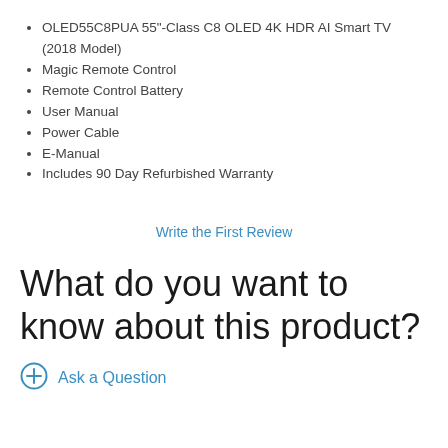OLED55C8PUA 55"-Class C8 OLED 4K HDR AI Smart TV (2018 Model)
Magic Remote Control
Remote Control Battery
User Manual
Power Cable
E-Manual
Includes 90 Day Refurbished Warranty
Write the First Review
What do you want to know about this product?
Ask a Question